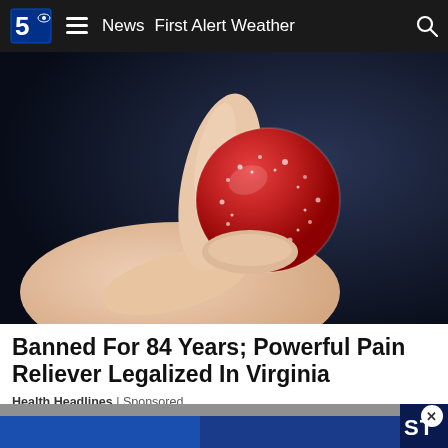CBS 5 | News  First Alert Weather
[Figure (photo): Close-up photo of a hand holding a round red sugar-coated gummy candy against a dark blue-black background]
Banned For 84 Years; Powerful Pain Reliever Legalized In Virginia
Health Headlines | Sponsored
[Figure (photo): Partial screenshot of a news video thumbnail with blue background and 'ST' text visible, with a circular close/dismiss button]